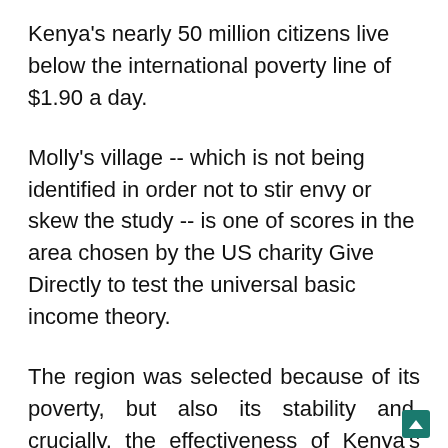Kenya's nearly 50 million citizens live below the international poverty line of $1.90 a day.
Molly's village -- which is not being identified in order not to stir envy or skew the study -- is one of scores in the area chosen by the US charity Give Directly to test the universal basic income theory.
The region was selected because of its poverty, but also its stability and, crucially, the effectiveness of Kenya's mobile money transfer system, M-Pesa, that allows the ea